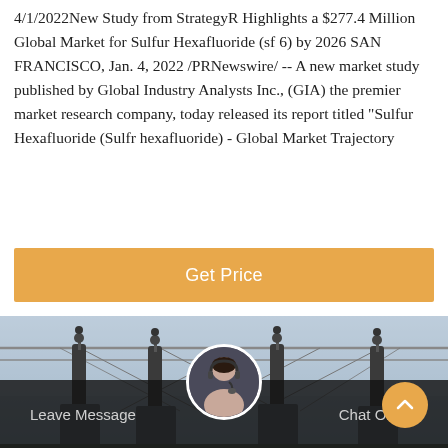4/1/2022New Study from StrategyR Highlights a $277.4 Million Global Market for Sulfur Hexafluoride (sf 6) by 2026 SAN FRANCISCO, Jan. 4, 2022 /PRNewswire/ -- A new market study published by Global Industry Analysts Inc., (GIA) the premier market research company, today released its report titled "Sulfur Hexafluoride (Sulfr hexafluoride) - Global Market Trajectory
[Figure (other): Orange button labeled 'Get Price']
[Figure (photo): Electrical substation with large transformer equipment, insulators, and overhead power lines against a hazy sky]
Leave Message
Chat Online